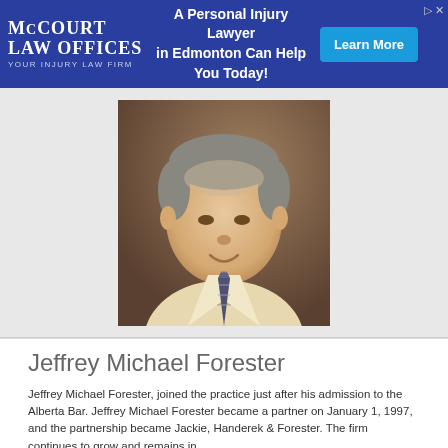[Figure (other): McCourt Law Offices advertisement banner — blue background with logo on left, text 'A Personal Injury Lawyer in Edmonton Can Help You Today!' in center, and 'Learn More' blue button on right]
[Figure (photo): Professional headshot portrait of a middle-aged man with short gray-brown hair, wearing a light yellow shirt and striped tie, smiling, against a brown background]
Jeffrey Michael Forester
Jeffrey Michael Forester, joined the practice just after his admission to the Alberta Bar. Jeffrey Michael Forester became a partner on January 1, 1997, and the partnership became Jackie, Handerek & Forester. The firm continues to grow and remains in